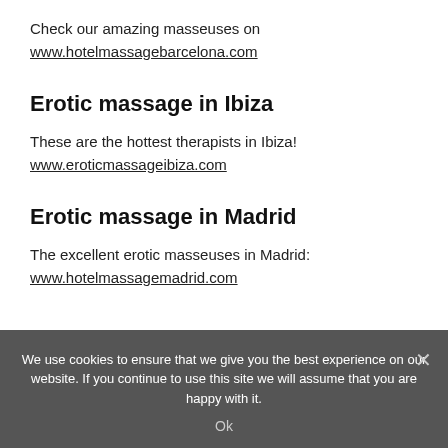Check our amazing masseuses on www.hotelmassagebarcelona.com
Erotic massage in Ibiza
These are the hottest therapists in Ibiza! www.eroticmassageibiza.com
Erotic massage in Madrid
The excellent erotic masseuses in Madrid: www.hotelmassagemadrid.com
We use cookies to ensure that we give you the best experience on our website. If you continue to use this site we will assume that you are happy with it. Ok